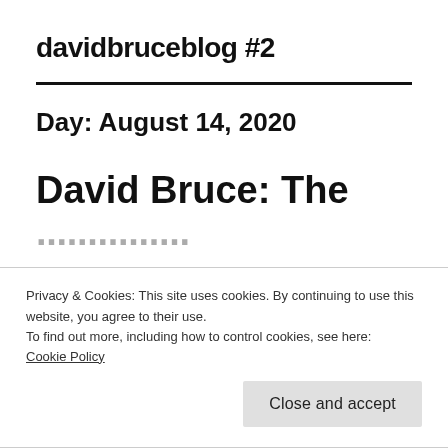davidbruceblog #2
Day: August 14, 2020
David Bruce: The
Privacy & Cookies: This site uses cookies. By continuing to use this website, you agree to their use.
To find out more, including how to control cookies, see here:
Cookie Policy
Close and accept